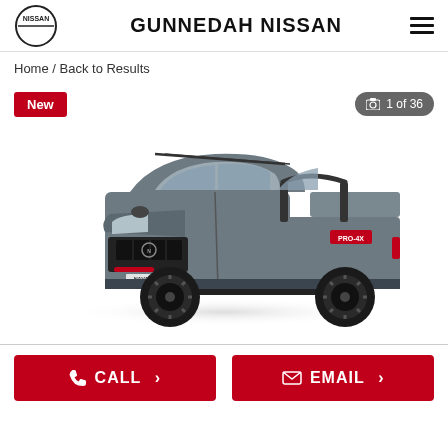GUNNEDAH NISSAN
Home / Back to Results
[Figure (photo): Gray Nissan Navara Pro-4X dual-cab pickup truck, side-front three-quarter view, with black alloy wheels and red accents. Badge 'New' shown top-left. Photo counter '1 of 36' shown top-right.]
CALL >
EMAIL >